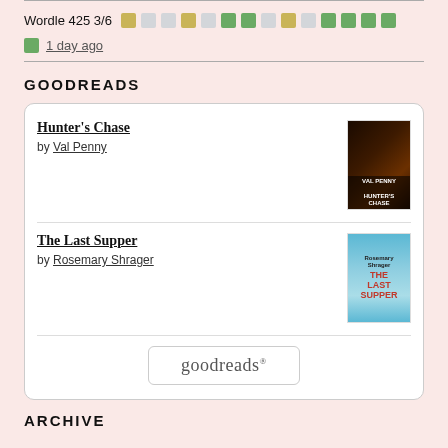Wordle 425 3/6 [colored squares]
1 day ago
GOODREADS
[Figure (other): Goodreads widget showing two books: Hunter's Chase by Val Penny and The Last Supper by Rosemary Shrager, with a goodreads button at the bottom]
ARCHIVE